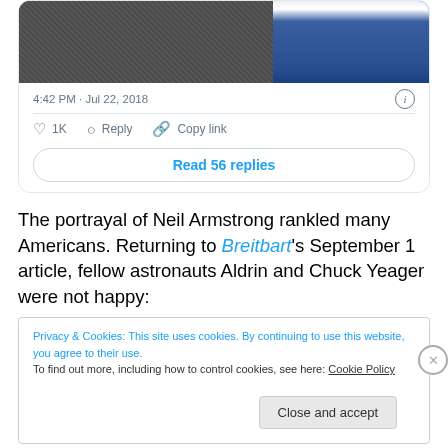[Figure (screenshot): Tweet card showing a partial image (moon surface on left, person in jeans on right), timestamp 4:42 PM Jul 22 2018, with like (1K), reply, copy link actions, and a Read 56 replies button]
The portrayal of Neil Armstrong rankled many Americans. Returning to Breitbart's September 1 article, fellow astronauts Aldrin and Chuck Yeager were not happy:
Privacy & Cookies: This site uses cookies. By continuing to use this website, you agree to their use.
To find out more, including how to control cookies, see here: Cookie Policy
Close and accept